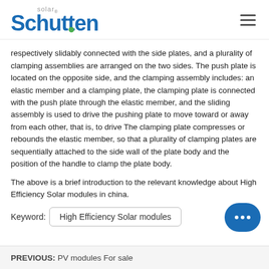Schutten Solar
respectively slidably connected with the side plates, and a plurality of clamping assemblies are arranged on the two sides. The push plate is located on the opposite side, and the clamping assembly includes: an elastic member and a clamping plate, the clamping plate is connected with the push plate through the elastic member, and the sliding assembly is used to drive the pushing plate to move toward or away from each other, that is, to drive The clamping plate compresses or rebounds the elastic member, so that a plurality of clamping plates are sequentially attached to the side wall of the plate body and the position of the handle to clamp the plate body.
The above is a brief introduction to the relevant knowledge about High Efficiency Solar modules in china.
Keyword: High Efficiency Solar modules
PREVIOUS: PV modules For sale